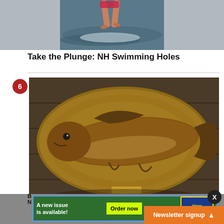[Figure (photo): Partial view of person diving/jumping into water, legs visible above water surface]
Take the Plunge: NH Swimming Holes
6
[Figure (photo): Mounted taxidermy fish (bass) on an oval wooden plaque displayed on a wooden surface]
A new issue is available!
Order now
New Hampshire
Newsletter signup